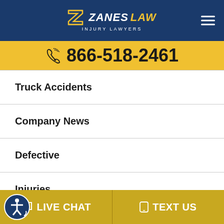[Figure (logo): Zanes Law Injury Lawyers logo — white Z icon with italic ZANES LAW text (LAW in gold) and INJURY LAWYERS subtitle in white, on dark blue background]
866-518-2461
Truck Accidents
Company News
Defective
Injuries
Find Personal Injury...
LIVE CHAT
TEXT US